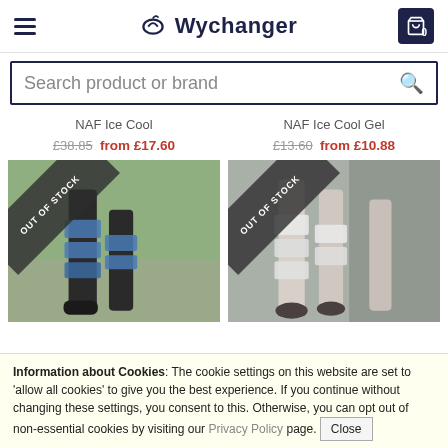Wychanger
Search product or brand
NAF Ice Cool
£38.85 from £17.60
OUT OF STOCK
NAF Ice Cool Gel
£13.60 from £10.88
OUT OF STOCK
[Figure (photo): Horse legs wearing ice cool boots with OUT OF STOCK banner]
[Figure (photo): Horse legs wearing ice cool gel wraps with OUT OF STOCK banner]
Information about Cookies: The cookie settings on this website are set to 'allow all cookies' to give you the best experience. If you continue without changing these settings, you consent to this. Otherwise, you can opt out of non-essential cookies by visiting our Privacy Policy page. Close